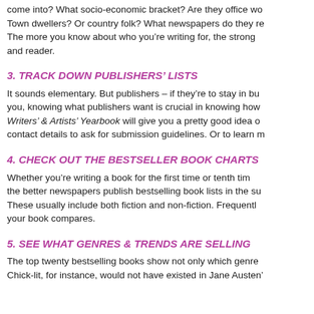come into? What socio-economic bracket? Are they office workers? Town dwellers? Or country folk? What newspapers do they read? The more you know about who you're writing for, the stronger the bond between writer and reader.
3. TRACK DOWN PUBLISHERS' LISTS
It sounds elementary. But publishers – if they're to stay in business – publish for you, knowing what publishers want is crucial in knowing how to write for them. The Writers' & Artists' Yearbook will give you a pretty good idea of the market. Use their contact details to ask for submission guidelines. Or to learn more about them.
4. CHECK OUT THE BESTSELLER BOOK CHARTS
Whether you're writing a book for the first time or tenth time, you need to know that the better newspapers publish bestselling book lists in the supplements each weekend. These usually include both fiction and non-fiction. Frequently they will indicate how your book compares.
5. SEE WHAT GENRES & TRENDS ARE SELLING
The top twenty bestselling books show not only which genres are selling well. Chick-lit, for instance, would not have existed in Jane Austen's time.